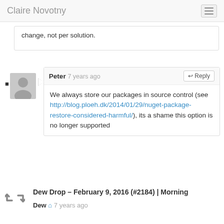Claire Novotny
change, not per solution.
Peter 7 years ago
We always store our packages in source control (see http://blog.ploeh.dk/2014/01/29/nuget-package-restore-considered-harmful/), its a shame this option is no longer supported
Dew Drop – February 9, 2016 (#2184) | Morning
Dew 7 years ago